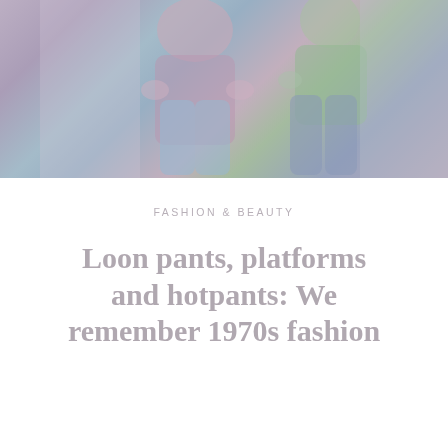[Figure (photo): Faded/washed-out photograph of people wearing 1970s fashion clothing including colorful outfits, hotpants, and platform-style clothing. The image appears muted and desaturated with pastel tones of purple, blue, and green.]
FASHION & BEAUTY
Loon pants, platforms and hotpants: We remember 1970s fashion